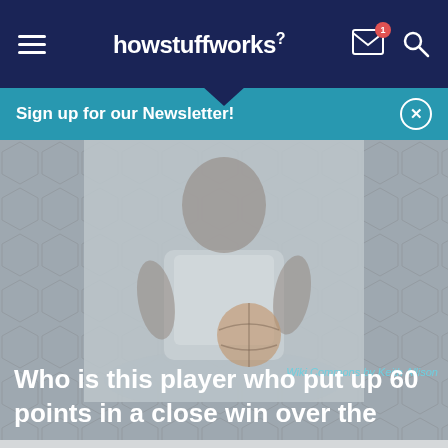howstuffworks
Sign up for our Newsletter!
[Figure (photo): NBA basketball player in white jersey holding a Spalding basketball, faded/washed out photo]
Wiki Commons by Keith Allison
Who is this player who put up 60 points in a close win over the